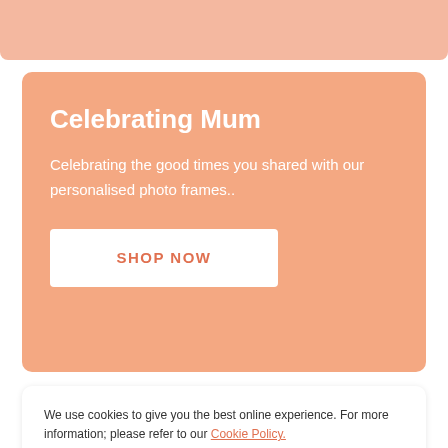[Figure (illustration): Salmon/peach colored top banner strip]
Celebrating Mum
Celebrating the good times you shared with our personalised photo frames..
SHOP NOW
We use cookies to give you the best online experience. For more information; please refer to our Cookie Policy.
Accept & Continue